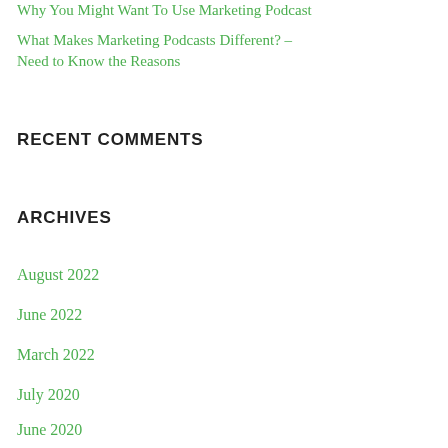Why You Might Want To Use Marketing Podcast
What Makes Marketing Podcasts Different? – Need to Know the Reasons
RECENT COMMENTS
ARCHIVES
August 2022
June 2022
March 2022
July 2020
June 2020